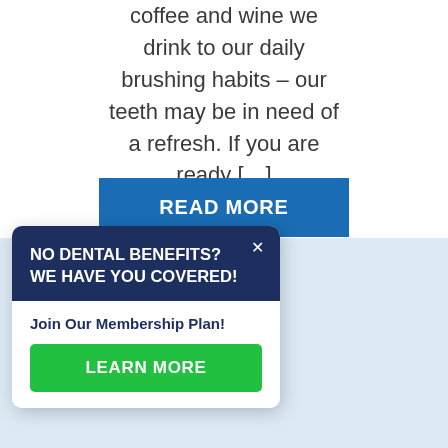coffee and wine we drink to our daily brushing habits – our teeth may be in need of a refresh. If you are ready […]
READ MORE
NO DENTAL BENEFITS? WE HAVE YOU COVERED!
Join Our Membership Plan!
LEARN MORE